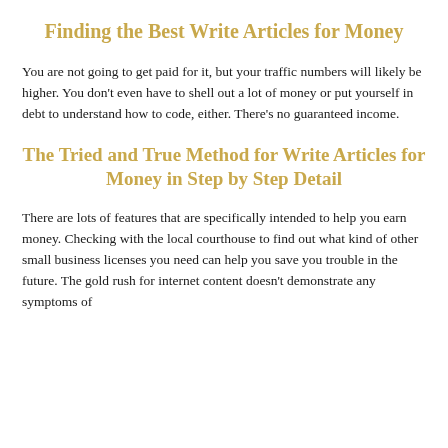Finding the Best Write Articles for Money
You are not going to get paid for it, but your traffic numbers will likely be higher. You don't even have to shell out a lot of money or put yourself in debt to understand how to code, either. There's no guaranteed income.
The Tried and True Method for Write Articles for Money in Step by Step Detail
There are lots of features that are specifically intended to help you earn money. Checking with the local courthouse to find out what kind of other small business licenses you need can help you save you trouble in the future. The gold rush for internet content doesn't demonstrate any symptoms of